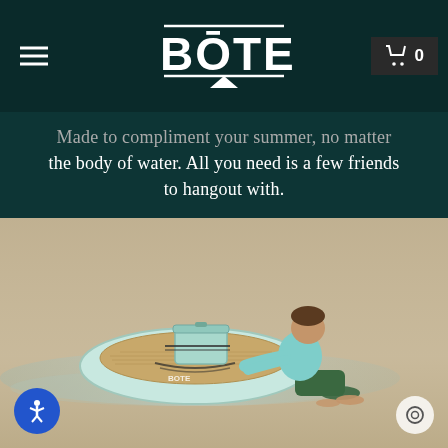BOTE (logo with paddle)
Made to compliment your summer, no matter the body of water. All you need is a few friends to hangout with.
[Figure (photo): A child in a teal long-sleeve shirt and dark shorts kneeling on a sandy beach, pushing a large round inflatable BOTE SUP paddleboard with a mint-green cooler strapped on top. The board has a wood-grain deck pad and the BOTE logo is visible on the side. Shallow water is visible on the sand.]